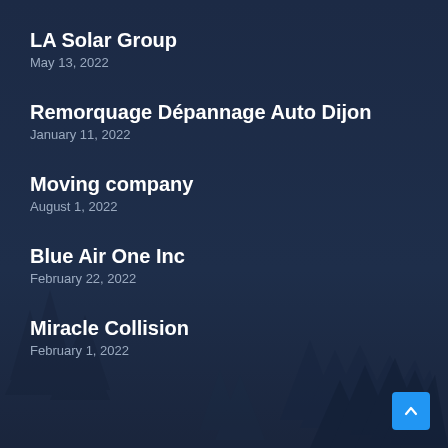LA Solar Group
May 13, 2022
Remorquage Dépannage Auto Dijon
January 11, 2022
Moving company
August 1, 2022
Blue Air One Inc
February 22, 2022
Miracle Collision
February 1, 2022